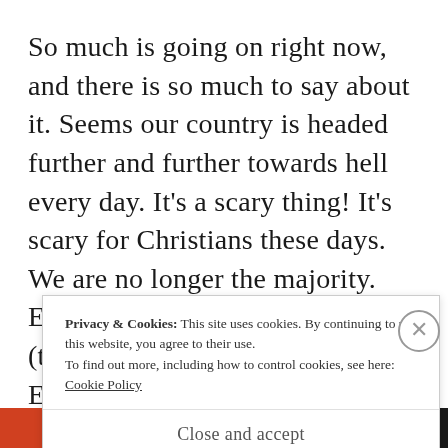So much is going on right now, and there is so much to say about it. Seems our country is headed further and further towards hell every day. It's a scary thing! It's scary for Christians these days. We are no longer the majority. Everything we say offends people (the bible said it would). Everything we do is
Privacy & Cookies: This site uses cookies. By continuing to use this website, you agree to their use.
To find out more, including how to control cookies, see here:
Cookie Policy
Close and accept